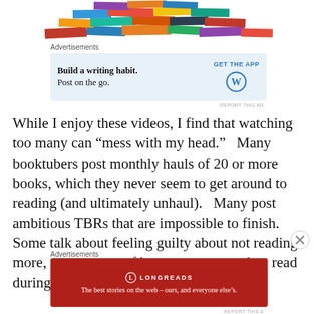[Figure (photo): A large pile of colorful books stacked in a mound, viewed from the front, partially visible at the top of the page.]
Advertisements
[Figure (screenshot): Advertisement banner with light blue background. Text: 'Build a writing habit. Post on the go.' with a 'GET THE APP' call-to-action and the WordPress (W) logo icon.]
While I enjoy these videos, I find that watching too many can “mess with my head.”  Many booktubers post monthly hauls of 20 or more books, which they never seem to get around to reading (and ultimately unhaul).  Many post ambitious TBRs that are impossible to finish.  Some talk about feeling guilty about not reading more, or post stats of how many pages they read during
Advertisements
[Figure (screenshot): Advertisement banner with dark red background. Longreads logo (circle with L) and name 'LONGREADS' at top. Text: 'The best stories on the web – ours, and everyone else’s.']